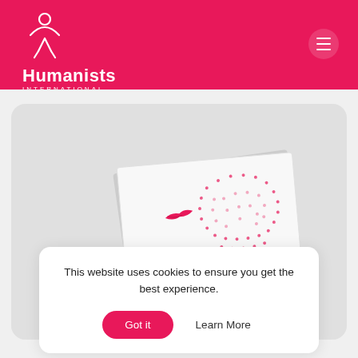[Figure (logo): Humanists International logo — white human figure icon above 'Humanists' in bold white text and 'INTERNATIONAL' in white spaced caps, on a pink/magenta header background]
[Figure (screenshot): Screenshot of Humanists International website showing a book/publication with a dotted lightbulb graphic on the cover, on a light grey rounded card]
This website uses cookies to ensure you get the best experience.
Got it
Learn More